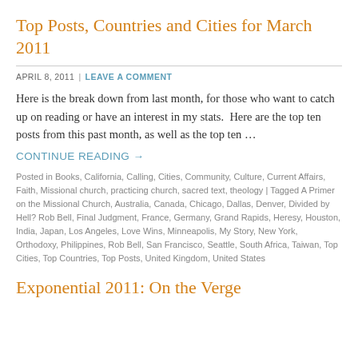Top Posts, Countries and Cities for March 2011
APRIL 8, 2011  |  LEAVE A COMMENT
Here is the break down from last month, for those who want to catch up on reading or have an interest in my stats.  Here are the top ten posts from this past month, as well as the top ten …
CONTINUE READING →
Posted in Books, California, Calling, Cities, Community, Culture, Current Affairs, Faith, Missional church, practicing church, sacred text, theology | Tagged A Primer on the Missional Church, Australia, Canada, Chicago, Dallas, Denver, Divided by Hell? Rob Bell, Final Judgment, France, Germany, Grand Rapids, Heresy, Houston, India, Japan, Los Angeles, Love Wins, Minneapolis, My Story, New York, Orthodoxy, Philippines, Rob Bell, San Francisco, Seattle, South Africa, Taiwan, Top Cities, Top Countries, Top Posts, United Kingdom, United States
Exponential 2011: On the Verge